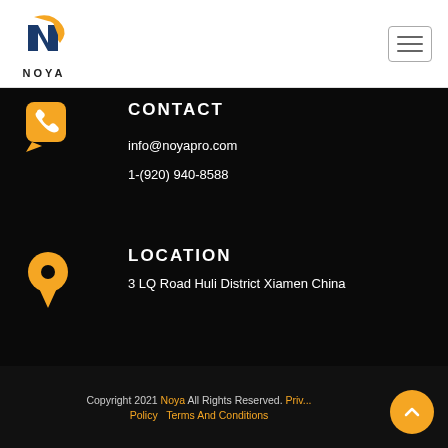[Figure (logo): Noya company logo: orange and blue N symbol above NOYA text]
CONTACT
info@noyapro.com
1-(920) 940-8588
LOCATION
3 LQ Road Huli District Xiamen China
Copyright 2021 Noya All Rights Reserved. Privacy Policy  Terms And Conditions